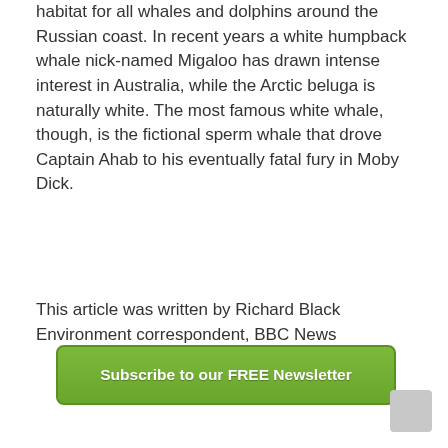habitat for all whales and dolphins around the Russian coast. In recent years a white humpback whale nick-named Migaloo has drawn intense interest in Australia, while the Arctic beluga is naturally white. The most famous white whale, though, is the fictional sperm whale that drove Captain Ahab to his eventually fatal fury in Moby Dick.
This article was written by Richard Black Environment correspondent, BBC News
[Figure (other): Green subscribe button with white bold text reading 'Subscribe to our FREE Newsletter']